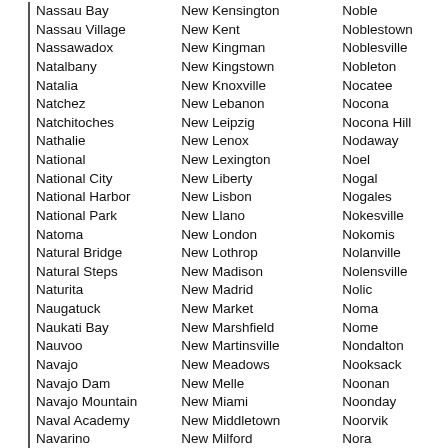Nassau Bay
Nassau Village
Nassawadox
Natalbany
Natalia
Natchez
Natchitoches
Nathalie
National
National City
National Harbor
National Park
Natoma
Natural Bridge
Natural Steps
Naturita
Naugatuck
Naukati Bay
Nauvoo
Navajo
Navajo Dam
Navajo Mountain
Naval Academy
Navarino
Navarre
Navarre Beach
Navarro
New Kensington
New Kent
New Kingman
New Kingstown
New Knoxville
New Lebanon
New Leipzig
New Lenox
New Lexington
New Liberty
New Lisbon
New Llano
New London
New Lothrop
New Madison
New Madrid
New Market
New Marshfield
New Martinsville
New Meadows
New Melle
New Miami
New Middletown
New Milford
New Minden
New Morgan
New Munich
Noble
Noblestown
Noblesville
Nobleton
Nocatee
Nocona
Nocona Hills
Nodaway
Noel
Nogal
Nogales
Nokesville
Nokomis
Nolanville
Nolensville
Nolic
Noma
Nome
Nondalton
Nooksack
Noonan
Noonday
Noorvik
Nora
Nora Springs
Norborne
Norbourne